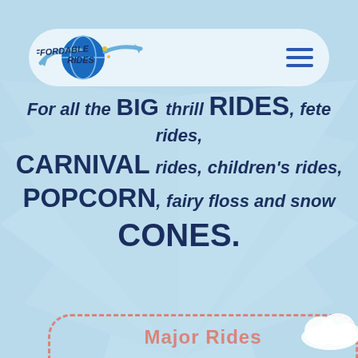[Figure (logo): Affordable Rides logo with blue globe and text, in a light blue pill-shaped navigation bar with hamburger menu icon]
For all the BIG thrill RIDES, fete rides, CARNIVAL rides, children's rides, POPCORN, fairy floss and snow CONES.
Major Rides